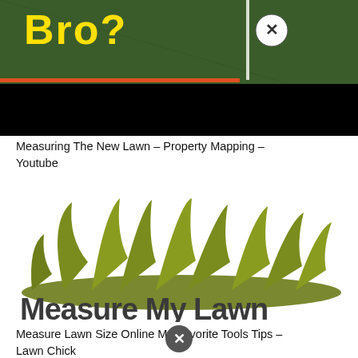[Figure (screenshot): Video thumbnail showing grass lawn with yellow text 'Bro?' and a circled X close button overlay, bottom portion is black (video player)]
Measuring The New Lawn – Property Mapping – Youtube
[Figure (logo): Measure My Lawn logo: olive/green grass blades illustration above bold dark gray text 'Measure My Lawn']
Measure Lawn Size Online My Favorite Tools Tips – Lawn Chick